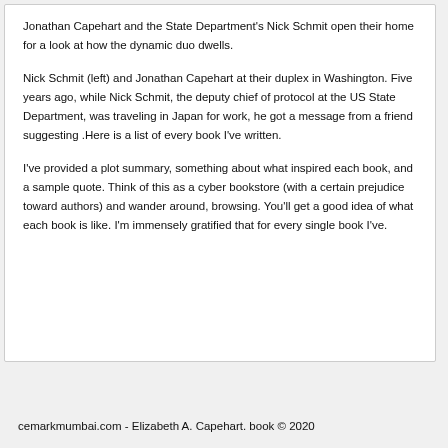Jonathan Capehart and the State Department's Nick Schmit open their home for a look at how the dynamic duo dwells.
Nick Schmit (left) and Jonathan Capehart at their duplex in Washington. Five years ago, while Nick Schmit, the deputy chief of protocol at the US State Department, was traveling in Japan for work, he got a message from a friend suggesting .Here is a list of every book I've written.
I've provided a plot summary, something about what inspired each book, and a sample quote. Think of this as a cyber bookstore (with a certain prejudice toward authors) and wander around, browsing. You'll get a good idea of what each book is like. I'm immensely gratified that for every single book I've.
cemarkmumbai.com - Elizabeth A. Capehart. book © 2020